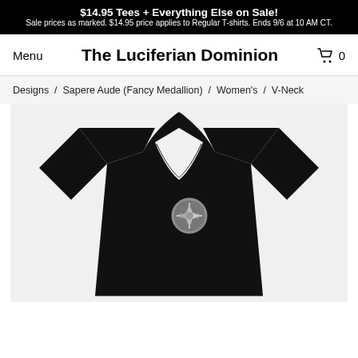$14.95 Tees + Everything Else on Sale! Sale prices as marked. $14.95 price applies to Regular T-shirts. Ends 9/6 at 10 AM CT.
The Luciferian Dominion
Menu
0
Designs / Sapere Aude (Fancy Medallion) / Women's / V-Neck
[Figure (photo): Black women's V-neck t-shirt with a small silver medallion design on the left chest area, displayed on a white background.]